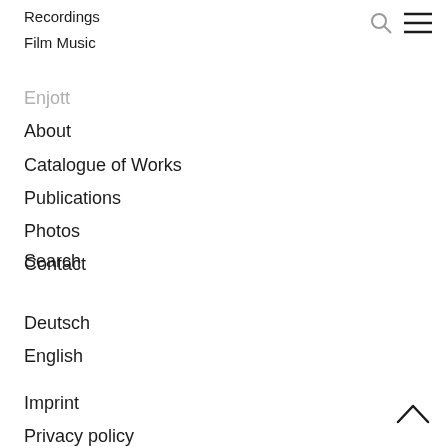Recordings
Film Music
Enjott
About
Catalogue of Works
Publications
Photos
Contact
Search
Deutsch
English
Imprint
Privacy policy